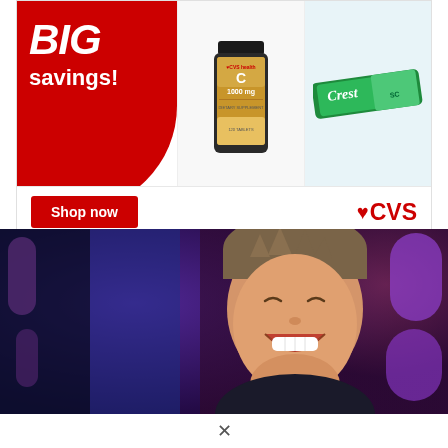[Figure (screenshot): CVS Pharmacy advertisement banner showing 'BIG savings!' red circle with vitamin C bottle and Crest toothpaste products, a red 'Shop now' button, CVS heart logo, 'Buy Online, Pick Up In-Store' message, CVS Pharmacy icon, and location info for Ashburn 08:00 - 13:30 with navigation button]
[Figure (photo): Photo of a laughing man with short hair against a colorful purple and red bokeh background, partially cut off on the left by a dark silhouette]